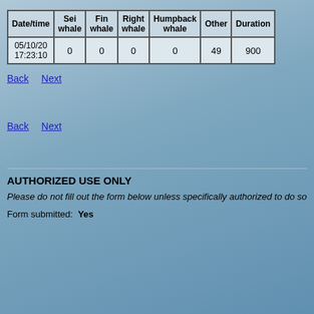| Date/time | Sei whale | Fin whale | Right whale | Humpback whale | Other | Duration |
| --- | --- | --- | --- | --- | --- | --- |
| 05/10/20 17:23:10 | 0 | 0 | 0 | 0 | 49 | 900 |
Back   Next
Back   Next
AUTHORIZED USE ONLY
Please do not fill out the form below unless specifically authorized to do so
Form submitted:  Yes